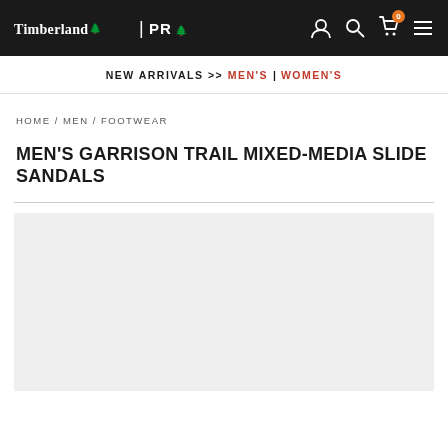Timberland PRO — navigation bar with user, search, cart (0), menu icons
NEW ARRIVALS >> MEN'S | WOMEN'S
HOME / MEN / FOOTWEAR
MEN'S GARRISON TRAIL MIXED-MEDIA SLIDE SANDALS
[Figure (photo): Product image area (light gray placeholder background)]